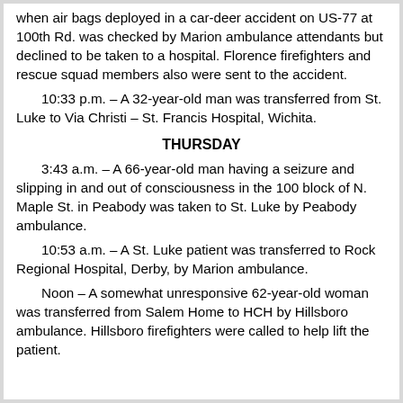when air bags deployed in a car-deer accident on US-77 at 100th Rd. was checked by Marion ambulance attendants but declined to be taken to a hospital. Florence firefighters and rescue squad members also were sent to the accident.
10:33 p.m. – A 32-year-old man was transferred from St. Luke to Via Christi – St. Francis Hospital, Wichita.
THURSDAY
3:43 a.m. – A 66-year-old man having a seizure and slipping in and out of consciousness in the 100 block of N. Maple St. in Peabody was taken to St. Luke by Peabody ambulance.
10:53 a.m. – A St. Luke patient was transferred to Rock Regional Hospital, Derby, by Marion ambulance.
Noon – A somewhat unresponsive 62-year-old woman was transferred from Salem Home to HCH by Hillsboro ambulance. Hillsboro firefighters were called to help lift the patient.